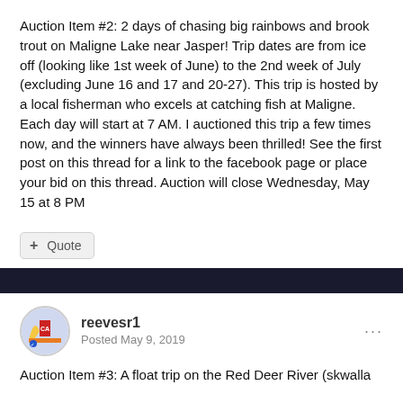Auction Item #2: 2 days of chasing big rainbows and brook trout on Maligne Lake near Jasper! Trip dates are from ice off (looking like 1st week of June) to the 2nd week of July (excluding June 16 and 17 and 20-27). This trip is hosted by a local fisherman who excels at catching fish at Maligne. Each day will start at 7 AM. I auctioned this trip a few times now, and the winners have always been thrilled! See the first post on this thread for a link to the facebook page or place your bid on this thread. Auction will close Wednesday, May 15 at 8 PM
+ Quote
reevesr1
Posted May 9, 2019
Auction Item #3: A float trip on the Red Deer River (skwalla